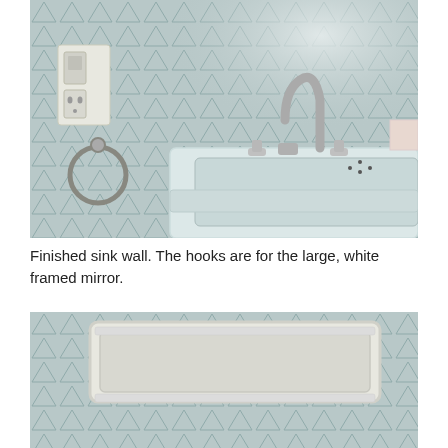[Figure (photo): Bathroom sink wall showing a white porcelain sink with chrome faucet and handles, patterned wallpaper with a geometric triangle design in light blue/gray, a chrome towel ring on the left wall, and an electrical outlet and light switch on the upper left wall.]
Finished sink wall. The hooks are for the large, white framed mirror.
[Figure (photo): Close-up of the bottom of a white framed mirror resting against the same patterned wallpaper, showing the white molded frame and the geometric wallpaper behind it.]